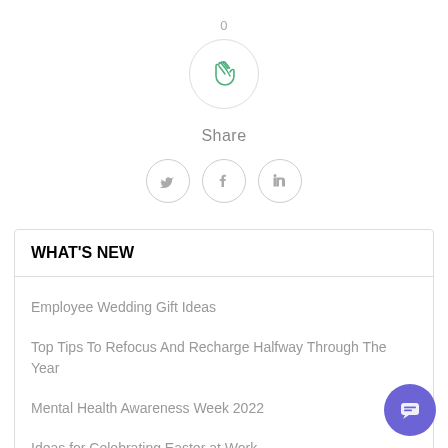0
[Figure (illustration): Clapping hands icon inside a circle border]
Share
[Figure (illustration): Three social media icon circles: Twitter, Facebook, LinkedIn]
WHAT'S NEW
Employee Wedding Gift Ideas
Top Tips To Refocus And Recharge Halfway Through The Year
Mental Health Awareness Week 2022
Ideas for Celebrating Easter at Work
Why Onboarding is Important for Business